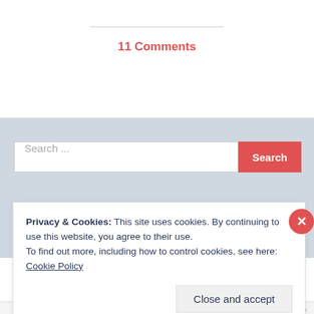11 Comments
Search ...
Privacy & Cookies: This site uses cookies. By continuing to use this website, you agree to their use.
To find out more, including how to control cookies, see here: Cookie Policy
Close and accept
BRILLIANT TITLES AD